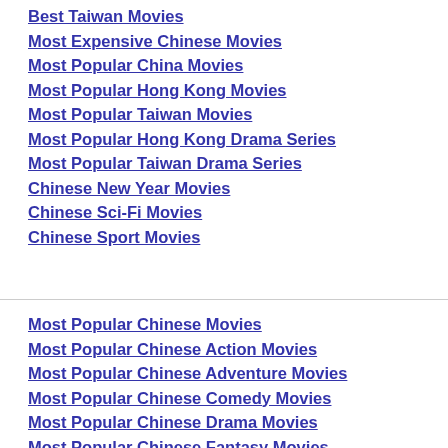Best Taiwan Movies
Most Expensive Chinese Movies
Most Popular China Movies
Most Popular Hong Kong Movies
Most Popular Taiwan Movies
Most Popular Hong Kong Drama Series
Most Popular Taiwan Drama Series
Chinese New Year Movies
Chinese Sci-Fi Movies
Chinese Sport Movies
Most Popular Chinese Movies
Most Popular Chinese Action Movies
Most Popular Chinese Adventure Movies
Most Popular Chinese Comedy Movies
Most Popular Chinese Drama Movies
Most Popular Chinese Fantasy Movies
Most Popular Chinese Horror Movies
Most Popular Chinese Kung Fu Movies